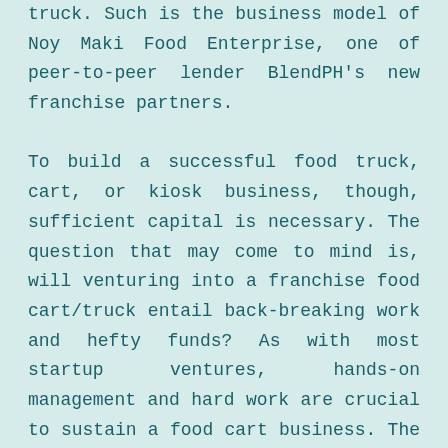truck. Such is the business model of Noy Maki Food Enterprise, one of peer-to-peer lender BlendPH's new franchise partners.

To build a successful food truck, cart, or kiosk business, though, sufficient capital is necessary. The question that may come to mind is, will venturing into a franchise food cart/truck entail back-breaking work and hefty funds? As with most startup ventures, hands-on management and hard work are crucial to sustain a food cart business. The financing is usually sourced from the franchise entrepreneur's own savings, income, and through funding partners.